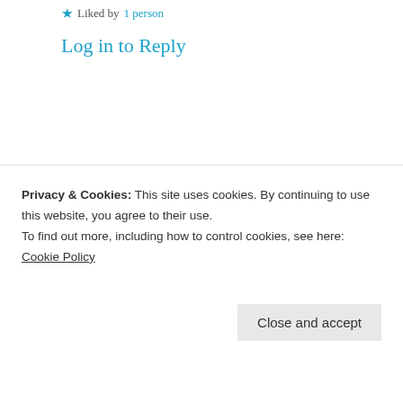★ Liked by 1 person
Log in to Reply
Suma Reddy
22nd Jun 2021 at 3:04 pm
Exactly Sowmya, better to stick to less expensive taste 😇❤ thank you much for reading n commenting dear.
Privacy & Cookies: This site uses cookies. By continuing to use this website, you agree to their use.
To find out more, including how to control cookies, see here: Cookie Policy
Close and accept